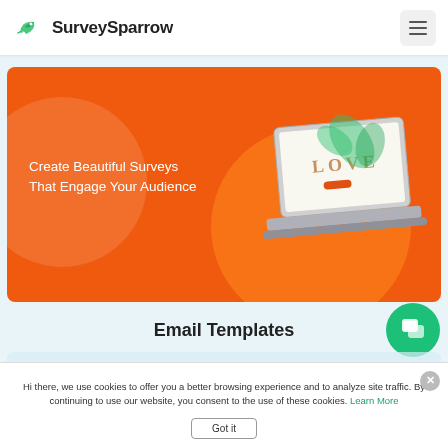[Figure (logo): SurveySparrow logo with green bird/leaf icon and company name text]
[Figure (screenshot): Orange hero banner showing 'Create Beautiful Surveys That Engage Your Audience' with laptop mockup on the right]
Email Templates
Hi there, we use cookies to offer you a better browsing experience and to analyze site traffic. By continuing to use our website, you consent to the use of these cookies. Learn More
Got it